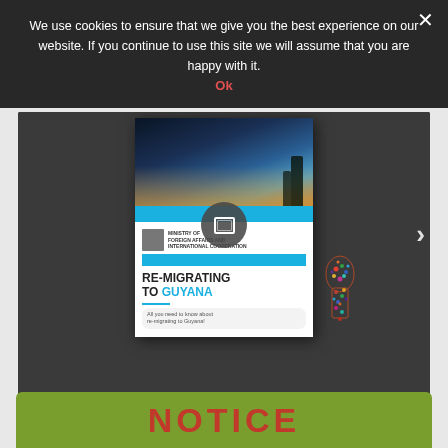We use cookies to ensure that we give you the best experience on our website. If you continue to use this site we will assume that you are happy with it.
Ok
[Figure (screenshot): Issuu embedded document viewer showing a publication titled 'RE-MIGRATING TO GUYANA - All you need to know about re-migrating to Guyana!' from the Ministry of Foreign Affairs and International Cooperation. The viewer has a dark background with a next arrow navigation control and play button overlay. Footer shows 'Powered by issuu' and 'Publish for Free' link.]
Powered by issuu
Publish for Free
NOTICE